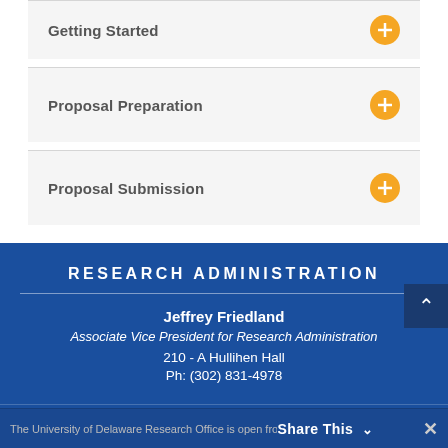Getting Started
Proposal Preparation
Proposal Submission
RESEARCH ADMINISTRATION
Jeffrey Friedland
Associate Vice President for Research Administration
210 - A Hullihen Hall
Ph: (302) 831-4978
HOURS OF OPERATION
The University of Delaware Research Office is open from 8 a.m. to 5
Share This